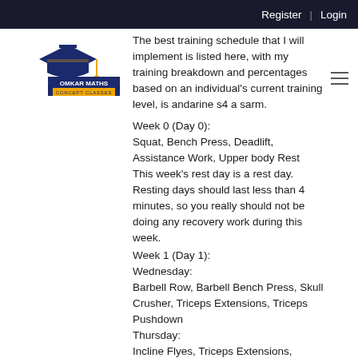Register | Login
[Figure (logo): Omkar Maths Concept Classes logo with graduation cap icon]
The best training schedule that I will implement is listed here, with my training breakdown and percentages based on an individual's current training level, is andarine s4 a sarm.
Week 0 (Day 0):
Squat, Bench Press, Deadlift, Assistance Work, Upper body Rest
This week's rest day is a rest day. Resting days should last less than 4 minutes, so you really should not be doing any recovery work during this week.
Week 1 (Day 1):
Wednesday:
Barbell Row, Barbell Bench Press, Skull Crusher, Triceps Extensions, Triceps Pushdown
Thursday:
Incline Flyes, Triceps Extensions, Triceps Pushdown, Hammer Curls
Friday:
Bench Press, Bench Press, Skull Crusher, Triceps Extensions, Triceps Pushdown